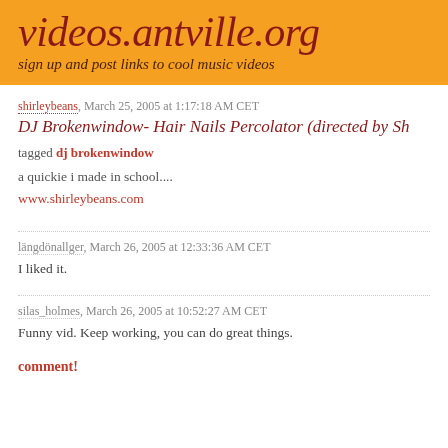videos.antville.org
sign up and post links to cool music videos
shirleybeans, March 25, 2005 at 1:17:18 AM CET
DJ Brokenwindow- Hair Nails Percolator (directed by Sh...
tagged dj brokenwindow
a quickie i made in school....
www.shirleybeans.com
längdönallger, March 26, 2005 at 12:33:36 AM CET
I liked it.
silas_holmes, March 26, 2005 at 10:52:27 AM CET
Funny vid. Keep working, you can do great things.
comment!